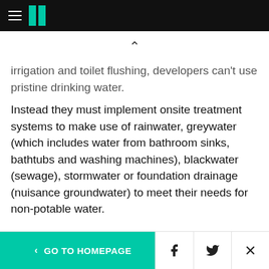HuffPost navigation header with hamburger menu and logo
irrigation and toilet flushing, developers can't use pristine drinking water.
Instead they must implement onsite treatment systems to make use of rainwater, greywater (which includes water from bathroom sinks, bathtubs and washing machines), blackwater (sewage), stormwater or foundation drainage (nuisance groundwater) to meet their needs for non-potable water.
< GO TO HOMEPAGE  [Facebook] [Twitter] [X]